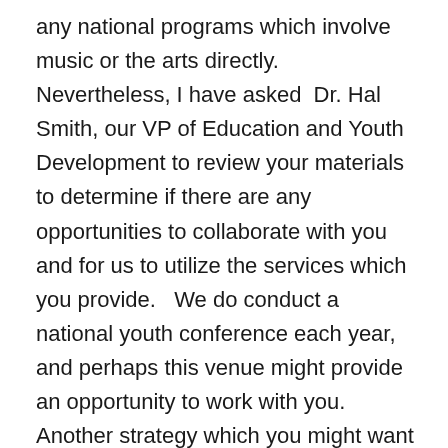any national programs which involve music or the arts directly.   Nevertheless, I have asked  Dr. Hal Smith, our VP of Education and Youth Development to review your materials to determine if there are any opportunities to collaborate with you and for us to utilize the services which you provide.   We do conduct a national youth conference each year, and perhaps this venue might provide an opportunity to work with you.   Another strategy which you might want to pursue is to work directly with one of more of our local affiliates.  While we could recommend you to them, I would not suggest this approach as frankly they get too much from us already and it probably would “get lost” in the traffic.  Have you had any conversations with any of the local – South Florida affiliates?  If not, that might be a good place to start and I could facilitate the introduction, if needed.  Honestly, the chances of